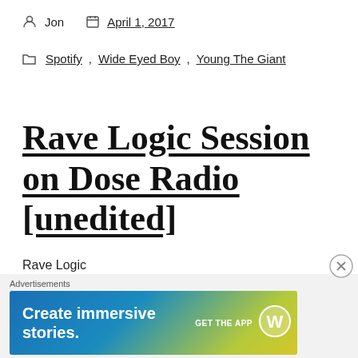Jon   April 1, 2017
Spotify, Wide Eyed Boy, Young The Giant
Rave Logic Session on Dose Radio [unedited]
Rave Logic (https://www.facebook.com/Rave.logic.) on Dose Radio (3/30/17) ...
Advertisements
[Figure (screenshot): WordPress advertisement banner: 'Create immersive stories. GET THE APP' with WordPress logo on gradient blue-green background.]